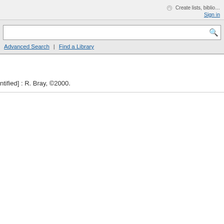Create lists, biblio... Sign in
Advanced Search | Find a Library
ntified] : R. Bray, ©2000.